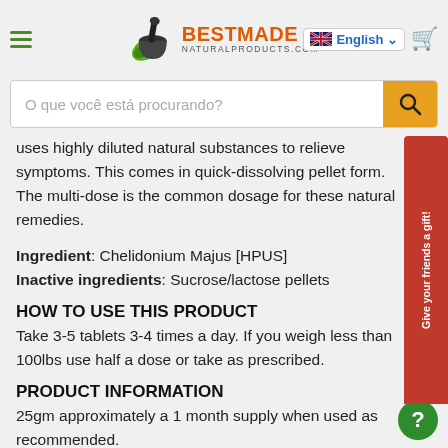[Figure (logo): BestMade NaturalProducts.com logo with mortar and pestle icon]
[Figure (screenshot): Search bar with Portuguese placeholder 'O que você está procurando?' and orange search button]
uses highly diluted natural substances to relieve symptoms. This comes in quick-dissolving pellet form. The multi-dose is the common dosage for these natural remedies.
Ingredient: Chelidonium Majus [HPUS]
Inactive ingredients: Sucrose/lactose pellets
HOW TO USE THIS PRODUCT
Take 3-5 tablets 3-4 times a day. If you weigh less than 100lbs use half a dose or take as prescribed.
PRODUCT INFORMATION
25gm approximately a 1 month supply when used as recommended.